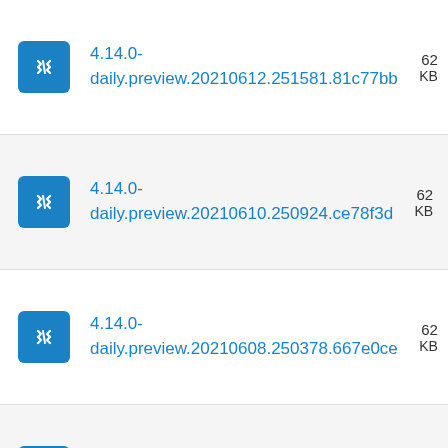4.14.0-daily.preview.20210612.251581.81c77bb  62 KB
4.14.0-daily.preview.20210610.250924.ce78f3d  62 KB
4.14.0-daily.preview.20210608.250378.667e0ce  62 KB
4.14.0-daily.preview.20210604.249618.52a...  62 KB